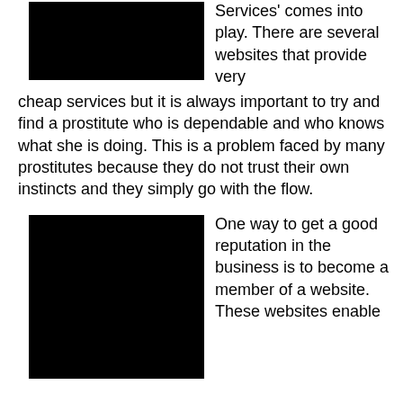[Figure (photo): Black redacted/censored image block at top left]
Services' comes into play. There are several websites that provide very cheap services but it is always important to try and find a prostitute who is dependable and who knows what she is doing. This is a problem faced by many prostitutes because they do not trust their own instincts and they simply go with the flow.
[Figure (photo): Black redacted/censored image block at bottom left]
One way to get a good reputation in the business is to become a member of a website. These websites enable